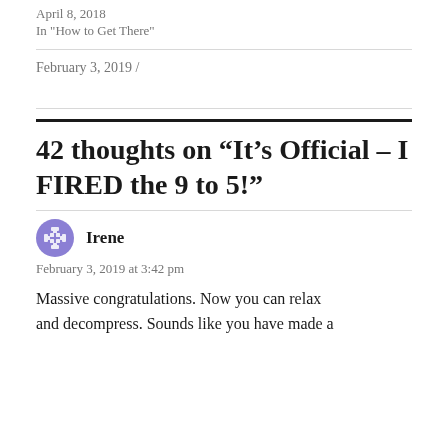April 8, 2018
In "How to Get There"
February 3, 2019 /
42 thoughts on “It’s Official – I FIRED the 9 to 5!”
Irene
February 3, 2019 at 3:42 pm
Massive congratulations. Now you can relax and decompress. Sounds like you have made a